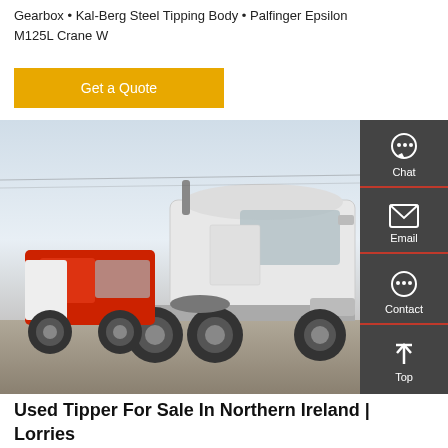Gearbox • Kal-Berg Steel Tipping Body • Palfinger Epsilon M125L Crane W
Get a Quote
[Figure (photo): Multiple trucks including white and red heavy-duty lorries/tractor units parked in a yard or depot area.]
Used Tipper For Sale In Northern Ireland | Lorries